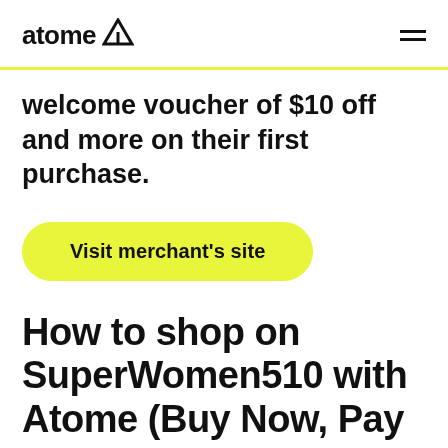atome
welcome voucher of $10 off and more on their first purchase.
Visit merchant's site
How to shop on SuperWomen510 with Atome (Buy Now, Pay Later)